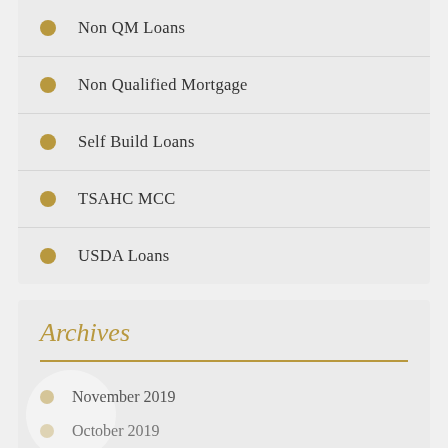Non QM Loans
Non Qualified Mortgage
Self Build Loans
TSAHC MCC
USDA Loans
Archives
November 2019
October 2019